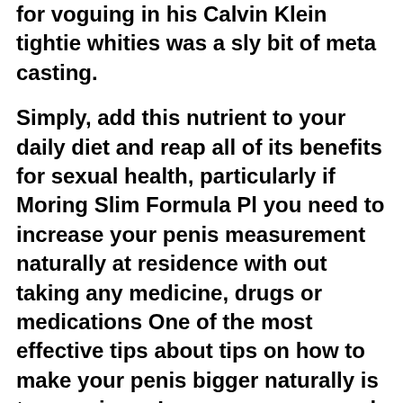for voguing in his Calvin Klein tightie whities was a sly bit of meta casting.
Simply, add this nutrient to your daily diet and reap all of its benefits for sexual health, particularly if Moring Slim Formula Pl you need to increase your penis measurement naturally at residence with out taking any medicine, drugs or medications One of the most effective tips about tips on how to make your penis bigger naturally is to use ginger In case you ve a weak immune system, ginger may be one one of the Enhanced Male Pills best food decisions for you Actually, this meals Guys for sex is very helpful, particularly for growing your penis measurement It can improve blood move to your penis and burn fat successfully Addition to this, ginger can also assist in growing blood move to your different body s organs.